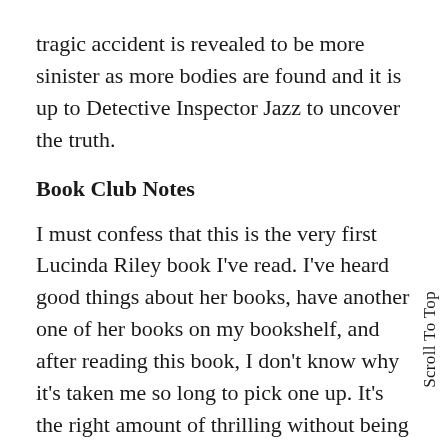tragic accident is revealed to be more sinister as more bodies are found and it is up to Detective Inspector Jazz to uncover the truth.
Book Club Notes
I must confess that this is the very first Lucinda Riley book I've read. I've heard good things about her books, have another one of her books on my bookshelf, and after reading this book, I don't know why it's taken me so long to pick one up. It's the right amount of thrilling without being gory and has enough intrigue that you don't want to put it down. There are little clues dropped in throughout the book that make you think you know what would happen (you don't) which keeps you on your toes and your fingers turning the pages. It is the perfect